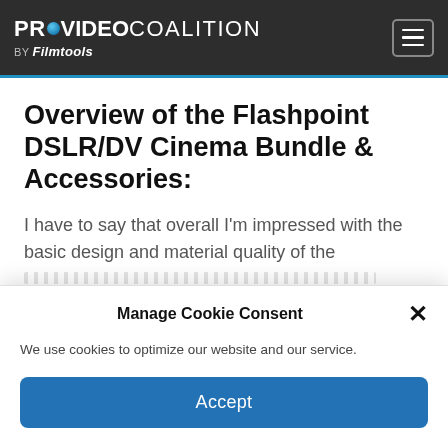PROVIDEO COALITION BY Filmtools
Overview of the Flashpoint DSLR/DV Cinema Bundle & Accessories:
I have to say that overall I'm impressed with the basic design and material quality of the
Manage Cookie Consent
We use cookies to optimize our website and our service.
Accept